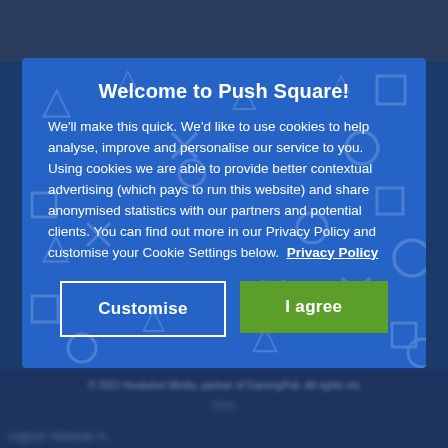Welcome to Push Square!
We'll make this quick. We'd like to use cookies to help analyse, improve and personalise our service to you. Using cookies we are able to provide better contextual advertising (which pays to run this website) and share anonymised statistics with our partners and potential clients. You can find out more in our Privacy Policy and customise your Cookie Settings below.  Privacy Policy
Customise
I agree